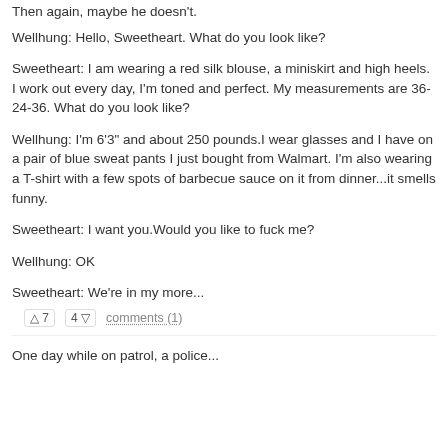Then again, maybe he doesn't.
Wellhung: Hello, Sweetheart. What do you look like?
Sweetheart: I am wearing a red silk blouse, a miniskirt and high heels. I work out every day, I'm toned and perfect. My measurements are 36-24-36. What do you look like?
Wellhung: I'm 6'3" and about 250 pounds.I wear glasses and I have on a pair of blue sweat pants I just bought from Walmart. I'm also wearing a T-shirt with a few spots of barbecue sauce on it from dinner...it smells funny.
Sweetheart: I want you.Would you like to fuck me?
Wellhung: OK
Sweetheart: We're in my more...
🔼 7    4 🔽    comments (1)
One day while on patrol, a police...